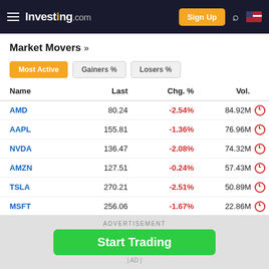Investing.com — Sign Up
Market Movers »
Most Active | Gainers % | Losers %
| Name | Last | Chg. % | Vol. |
| --- | --- | --- | --- |
| AMD | 80.24 | -2.54% | 84.92M |
| AAPL | 155.81 | -1.36% | 76.96M |
| NVDA | 136.47 | -2.08% | 74.32M |
| AMZN | 127.51 | -0.24% | 57.43M |
| TSLA | 270.21 | -2.51% | 50.89M |
| MSFT | 256.06 | -1.67% | 22.86M |
| META | 160.32 | -3.05% | 22.63M |
ADVERTISEMENT
Start Trading | AD |